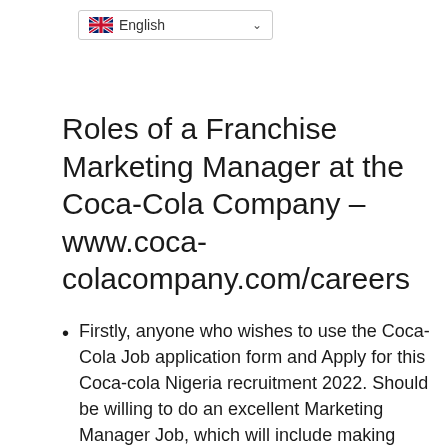[Figure (other): Language selector dropdown showing UK flag and 'English' text with a chevron/dropdown arrow]
Roles of a Franchise Marketing Manager at the Coca-Cola Company – www.coca-colacompany.com/careers
Firstly, anyone who wishes to use the Coca-Cola Job application form and Apply for this Coca-cola Nigeria recruitment 2022. Should be willing to do an excellent Marketing Manager Job, which will include making sure that the Coca-cola products are readily